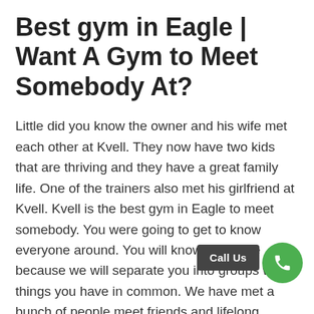Best gym in Eagle | Want A Gym to Meet Somebody At?
Little did you know the owner and his wife met each other at Kvell. They now have two kids that are thriving and they have a great family life. One of the trainers also met his girlfriend at Kvell. Kvell is the best gym in Eagle to meet somebody. You were going to get to know everyone around. You will know everyone because we will separate you into groups with things you have in common. We have met a bunch of people meet friends and lifelong friends that they will keep with hi... Er... of Time. Learn more about Kvell visit our website at www.kvellfit.com. Or give us a call at